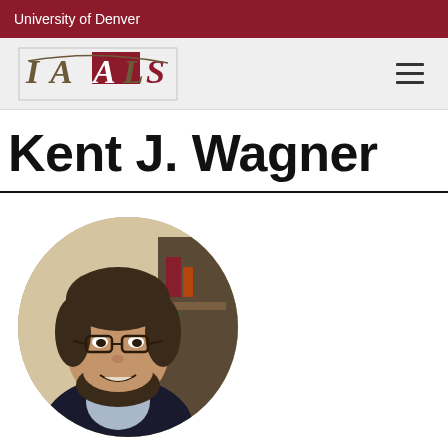University of Denver
[Figure (logo): IAALS logo - Institute for the Advancement of the American Legal System]
Kent J. Wagner
[Figure (photo): Circular headshot photo of Kent J. Wagner, a man with glasses and a beard wearing a dark blazer and light shirt]